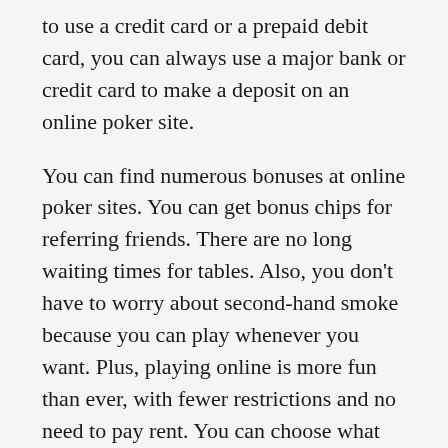to use a credit card or a prepaid debit card, you can always use a major bank or credit card to make a deposit on an online poker site.
You can find numerous bonuses at online poker sites. You can get bonus chips for referring friends. There are no long waiting times for tables. Also, you don't have to worry about second-hand smoke because you can play whenever you want. Plus, playing online is more fun than ever, with fewer restrictions and no need to pay rent. You can choose what stakes you want to play for. You'll be in complete control and make your own decisions.
There are also several benefits to playing online poker idn play. Unlike traditional casino games, you can win money from your computer. All you need to do is download the poker software and start playing. Most poker websites offer no download versions of